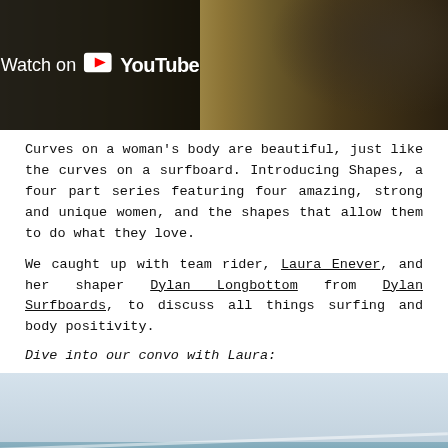[Figure (screenshot): YouTube video thumbnail showing 'Watch on YouTube' overlay text on a black semi-transparent box, with a light-colored surfboard or pole visible against a dark rocky background.]
Curves on a woman's body are beautiful, just like the curves on a surfboard. Introducing Shapes, a four part series featuring four amazing, strong and unique women, and the shapes that allow them to do what they love.
We caught up with team rider, Laura Enever, and her shaper Dylan Longbottom from Dylan Surfboards, to discuss all things surfing and body positivity.
Dive into our convo with Laura:
[Figure (photo): Outdoor ocean/seascape photo showing a pale sky and water with what appears to be a surfboard or wave in the lower portion.]